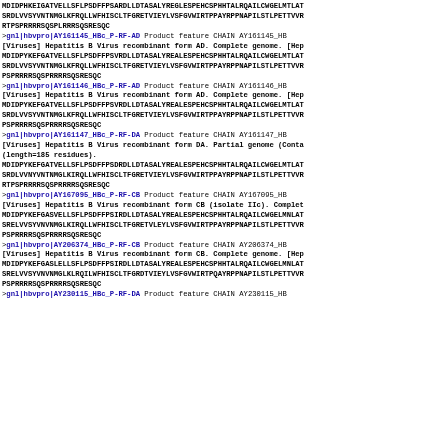MDIDPHKEIGATVELLSFLPSDFFPSARDLLDTASALYREGLESPEHCSPHHTALRQAILCWGELMTLAT
SRDLVVSYVNTNMGLKFRQLLWFHISCLTFGRETVIEYLVSFGVWIRTPPAYRPPNAPILSTLPETTVVR
RTPSPRRRRSQSPLRRRSQSRESQC
>gnl|hbvpro|AY161145_HBc_P-RF-AD  Product  feature  CHAIN  AY161145_HB
[Viruses] Hepatitis B Virus recombinant form AD. Complete genome. [Hep
MDIDPYKEFGATVELLSFLPSDFFPSVRDLLDTASALYREALESPEHCSPHHTALRQAILCWGELMTLAT
SRDLVVSYVNTNMGLKFRQLLWFHISCLTFGRETVIEYLVSFGVWIRTPPAYRPPNAPILSTLPETTVVR
PSPRRRRSQSPRRRRSQSRESQC
>gnl|hbvpro|AY161146_HBc_P-RF-AD  Product  feature  CHAIN  AY161146_HB
[Viruses] Hepatitis B Virus recombinant form AD. Complete genome. [Hep
MDIDPYKEFGATVELLSFLPSDFFPSVRDLLDTASALYREALESPEHCSPHHTALRQAILCWGELMTLAT
SRDLVVSYVNTNMGLKFRQLLWFHISCLTFGRETVIEYLVSFGVWIRTPPAYRPPNAPILSTLPETTVVR
PSPRRRRSQSPRRRRSQSRESQC
>gnl|hbvpro|AY161147_HBc_P-RF-DA  Product  feature  CHAIN  AY161147_HB
[Viruses] Hepatitis B Virus recombinant form DA. Partial genome (Conta
(length=185 residues).
MDIDPYKEFGATVELLSFLPSDFFPSDRDLLDTASALYREALESPEHCSPHHTALRQAILCWGELMTLAT
SRDLVVNYVNTNMGLKIRQLLWFHISCLTFGRETVIEYLVSFGVWIRTPPAYRPPNAPILSTLPETTVVR
RTPSPRRRRSQSPRRRRSQSRESQC
>gnl|hbvpro|AY167095_HBc_P-RF-CB  Product  feature  CHAIN  AY167095_HB
[Viruses] Hepatitis B Virus recombinant form CB (isolate IIc). Complet
MDIDPYKEFGASVELLSFLPSDFFPSIRDLLDTASALYREALESPEHCSPHHTALRQAILCWGELMNLAT
SRELVVSYVNVNMGLKIRQLLWFHISCLTFGRETVLEYLVSFGVWIRTPPAYRPPNAPILSTLPETTVVR
PSPRRRRSQSPRRRRSQSRESQC
>gnl|hbvpro|AY206374_HBc_P-RF-CB  Product  feature  CHAIN  AY206374_HB
[Viruses] Hepatitis B Virus recombinant form CB. Complete genome. [Hep
MDIDPYKEFGASLELLSFLPSDFFPSIRDLLDTASALYREALESPEHCSPHHTALRQAILCWGELMNLAT
SRELVVSYVNVNMGLKLRQILWFHISCLTFGRDTVIEYLVSFGVWIRTPQAYRPPNAPILSTLPETTVVR
PSPRRRRSQSPRRRRSQSRESQC
>gnl|hbvpro|AY230115_HBc_P-RF-DA  Product  feature  CHAIN  AY230115_HB